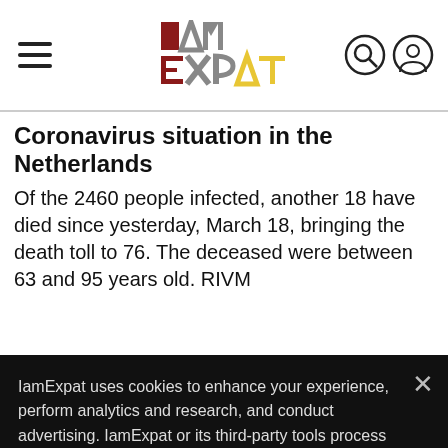IAmExpat header with hamburger menu, logo, search and user icons
Coronavirus situation in the Netherlands
Of the 2460 people infected, another 18 have died since yesterday, March 18, bringing the death toll to 76. The deceased were between 63 and 95 years old. RIVM
IamExpat uses cookies to enhance your experience, perform analytics and research, and conduct advertising. IamExpat or its third-party tools process personal data. You can opt out of the sale of your personal information by clicking on the "Do not sell my personal information" link.
Do not sell my personal information
OK